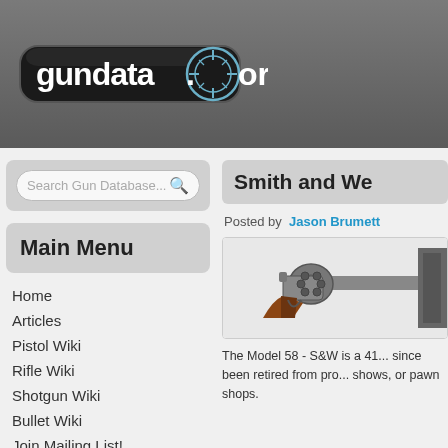[Figure (logo): gundata.org website logo with crosshair target graphic in dark pill/shield shape with white text]
Search Gun Database...
Main Menu
Home
Articles
Pistol Wiki
Rifle Wiki
Shotgun Wiki
Bullet Wiki
Join Mailing List!
Smith and We...
Posted by Jason Brumett
[Figure (photo): Photo of a Smith and Wesson Model 58 revolver with brown grip, steel frame]
The Model 58 - S&W is a 41... since been retired from pro... shows, or pawn shops.